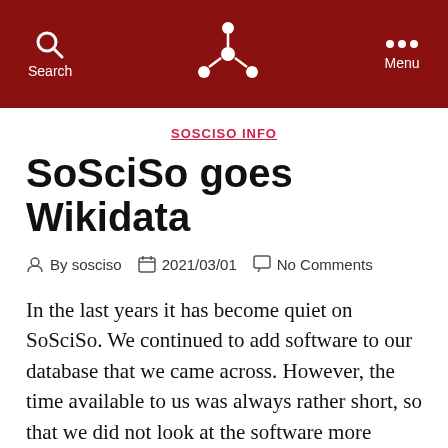Search | [SoSciSo logo] | Menu
SOSCISO INFO
SoSciSo goes Wikidata
By sosciso  2021/03/01  No Comments
In the last years it has become quiet on SoSciSo. We continued to add software to our database that we came across. However, the time available to us was always rather short, so that we did not look at the software more intensively and therefore also held back with writing articles. However, since two months we have become